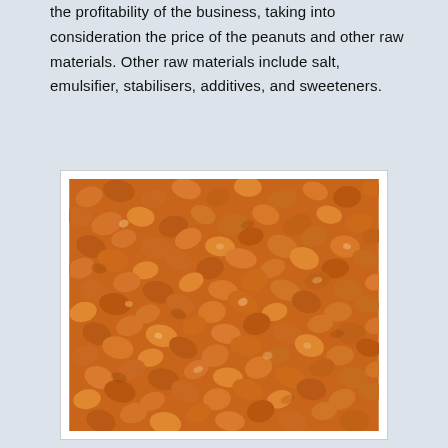the profitability of the business, taking into consideration the price of the peanuts and other raw materials. Other raw materials include salt, emulsifier, stabilisers, additives, and sweeteners.
[Figure (photo): Close-up photograph of a large pile of raw shelled peanuts, showing many individual peanut kernels in various shades of tan and brown, filling the entire frame.]